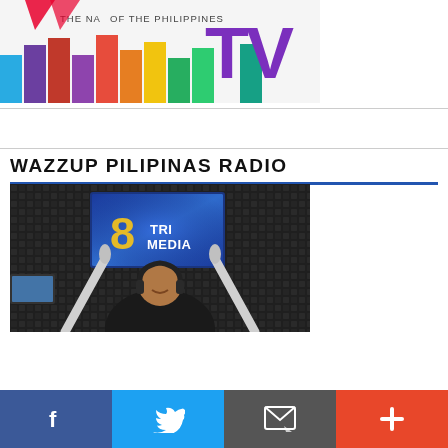[Figure (photo): TV logo with colorful bar chart graphic and 'TV' text in purple, with text 'THE NATIONAL [STATION] OF THE PHILIPPINES']
WAZZUP PILIPINAS RADIO
[Figure (photo): Person sitting at a radio broadcasting desk with microphones, wearing headphones, smiling; acoustic foam wall behind; TV screen showing '8 TRI-MEDIA' logo on wall]
[Figure (infographic): Social media share bar at bottom with Facebook (blue), Twitter (light blue), Email/envelope (gray), and plus/more (red-orange) buttons]